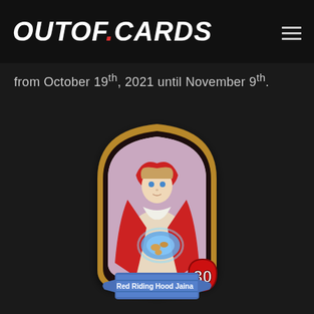OUTOF.CARDS
from October 19th, 2021 until November 9th.
[Figure (illustration): Hearthstone card featuring 'Red Riding Hood Jaina' — a woman in a red hooded cloak holding a glowing blue object, displayed in a gold-framed arch card frame with a blue scroll banner at the bottom showing '30' health and the card name 'Red Riding Hood Jaina']